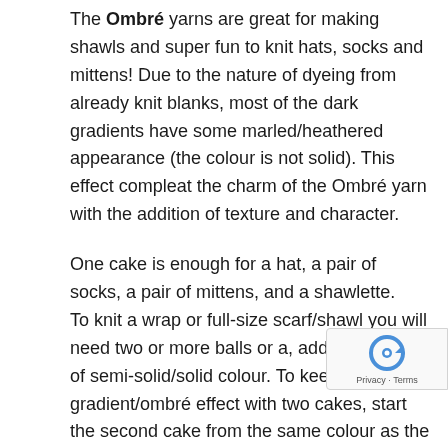The Ombré yarns are great for making shawls and super fun to knit hats, socks and mittens! Due to the nature of dyeing from already knit blanks, most of the dark gradients have some marled/heathered appearance (the colour is not solid). This effect compleat the charm of the Ombré yarn with the addition of texture and character.
One cake is enough for a hat, a pair of socks, a pair of mittens, and a shawlette.
To knit a wrap or full-size scarf/shawl you will need two or more balls or a, additional skein of semi-solid/solid colour. To keep the gradient/ombré effect with two cakes, start the second cake from the same colour as the end of your first one.
For sweaters and cardigans, you may stripe the yarn